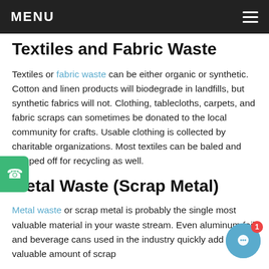MENU
Textiles and Fabric Waste
Textiles or fabric waste can be either organic or synthetic. Cotton and linen products will biodegrade in landfills, but synthetic fabrics will not. Clothing, tablecloths, carpets, and fabric scraps can sometimes be donated to the local community for crafts. Usable clothing is collected by charitable organizations. Most textiles can be baled and shipped off for recycling as well.
Metal Waste (Scrap Metal)
Metal waste or scrap metal is probably the single most valuable material in your waste stream. Even aluminum foil and beverage cans used in the industry quickly add up to a valuable amount of scrap